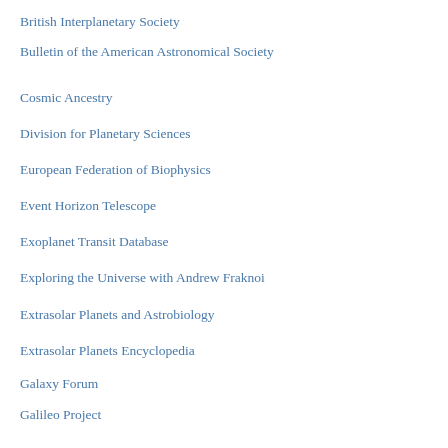British Interplanetary Society
Bulletin of the American Astronomical Society
Cosmic Ancestry
Division for Planetary Sciences
European Federation of Biophysics
Event Horizon Telescope
Exoplanet Transit Database
Exploring the Universe with Andrew Fraknoi
Extrasolar Planets and Astrobiology
Extrasolar Planets Encyclopedia
Galaxy Forum
Galileo Project
Google Scholar
Icarus Interstellar
Institute for Interstellar Studies